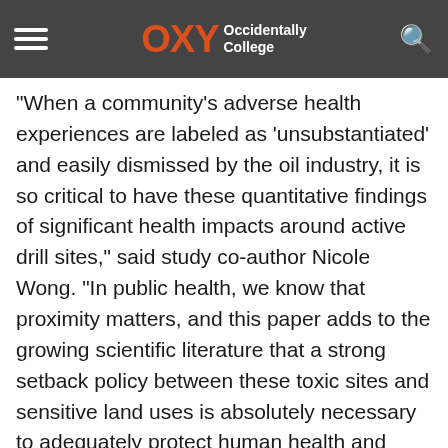worsened asthma, occurring statistically. OXY Occidentally College
"When a community's adverse health experiences are labeled as 'unsubstantiated' and easily dismissed by the oil industry, it is so critical to have these quantitative findings of significant health impacts around active drill sites," said study co-author Nicole Wong. "In public health, we know that proximity matters, and this paper adds to the growing scientific literature that a strong setback policy between these toxic sites and sensitive land uses is absolutely necessary to adequately protect human health and safety."
"There is little environmental or public health data